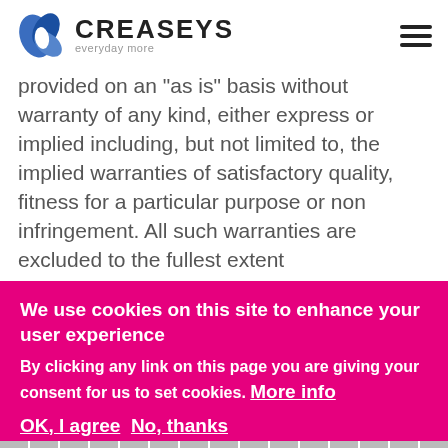CREASEYS everyday more
provided on an "as is" basis without warranty of any kind, either express or implied including, but not limited to, the implied warranties of satisfactory quality, fitness for a particular purpose or non infringement. All such warranties are excluded to the fullest extent
We use cookies on this site to enhance your user experience
By clicking any link on this page you are giving your consent for us to set cookies. More info
OK, I agree  No, thanks